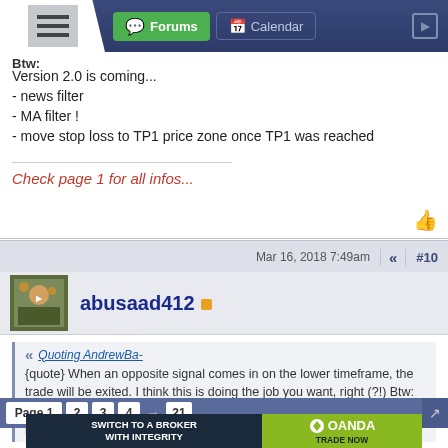Forums | Calendar
Btw:
Version 2.0 is coming...
- news filter
- MA filter !
- move stop loss to TP1 price zone once TP1 was reached
Check page 1 for all infos...
Mar 16, 2018 7:49am   #10
abusaad412
Quoting AndrewBa-
{quote} When an opposite signal comes in on the lower timeframe, the trade will be exited. I think this is doing the job you want, right (?!) Btw: Version 2.0 is coming... - news filter - MA filter ! - move stop loss to TP1 price zone once TP1 was reached
Page 1  2  3  4  →  21